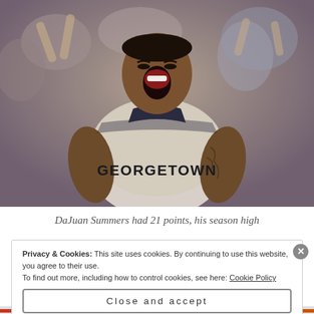[Figure (photo): A basketball player wearing a Georgetown jersey celebrating with mouth open wide, fans in background]
DaJuan Summers had 21 points, his season high
Privacy & Cookies: This site uses cookies. By continuing to use this website, you agree to their use. To find out more, including how to control cookies, see here: Cookie Policy
Close and accept